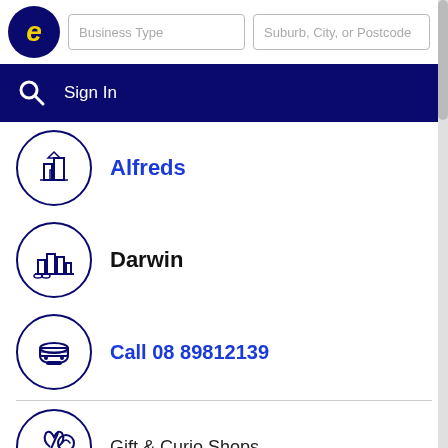Business Type | Suburb, City, or Postcode | Sign In
Alfreds
Darwin
Call 08 89812139
Gift & Curio Shops
Shop 3/ 20 Knuckey St, Darwin - Northern Territory 800
More results nearby or related categories